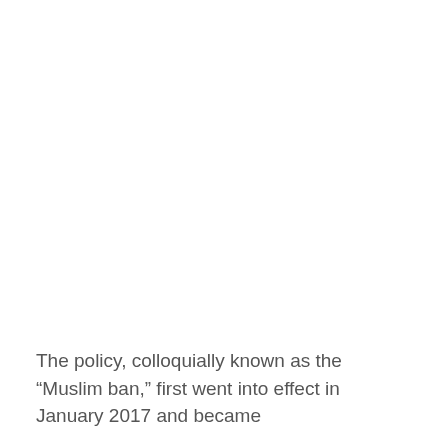The policy, colloquially known as the “Muslim ban,” first went into effect in January 2017 and became